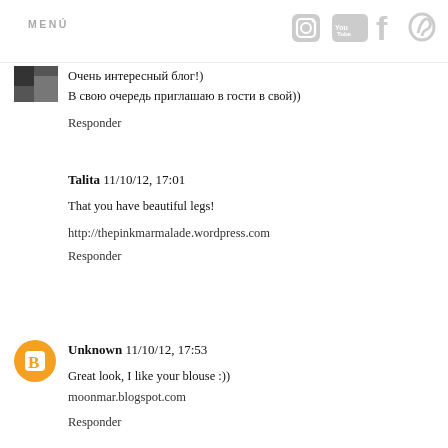MENÚ
Очень интересный блог!)
В свою очередь приглашаю в гости в свой))
Responder
Talita  11/10/12, 17:01
That you have beautiful legs!
http://thepinkmarmalade.wordpress.com
Responder
Unknown  11/10/12, 17:53
Great look, I like your blouse :))
moonmar.blogspot.com
Responder